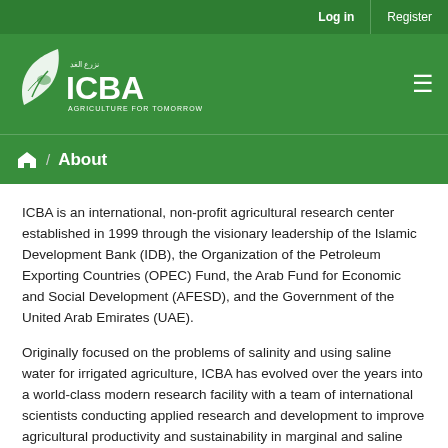Log in   Register
[Figure (logo): ICBA logo with leaf/droplet icon and text 'ICBA Agriculture for Tomorrow' in Arabic and English on a green background]
About
ICBA is an international, non-profit agricultural research center established in 1999 through the visionary leadership of the Islamic Development Bank (IDB), the Organization of the Petroleum Exporting Countries (OPEC) Fund, the Arab Fund for Economic and Social Development (AFESD), and the Government of the United Arab Emirates (UAE).
Originally focused on the problems of salinity and using saline water for irrigated agriculture, ICBA has evolved over the years into a world-class modern research facility with a team of international scientists conducting applied research and development to improve agricultural productivity and sustainability in marginal and saline environments.